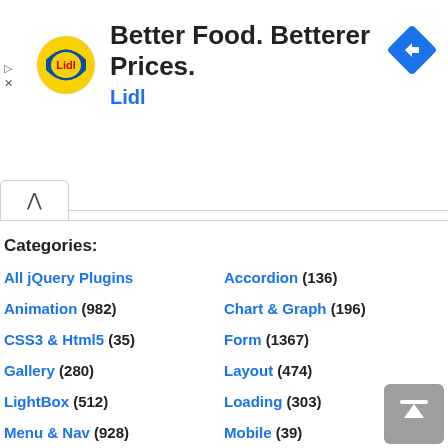[Figure (screenshot): Lidl advertisement banner: Lidl logo (yellow circle with red and blue text), headline 'Better Food. Betterer Prices.', brand name 'Lidl' in blue, and a blue diamond navigation icon on the right.]
Categories:
All jQuery Plugins
Accordion (136)
Animation (982)
Chart & Graph (196)
CSS3 & Html5 (35)
Form (1367)
Gallery (280)
Layout (474)
LightBox (512)
Loading (303)
Menu & Nav (928)
Mobile (39)
Others (2655)
Rotator (93)
Slider (806)
Slideshow (305)
Social Media (188)
Table (327)
Text (524)
Time & Clock (485)